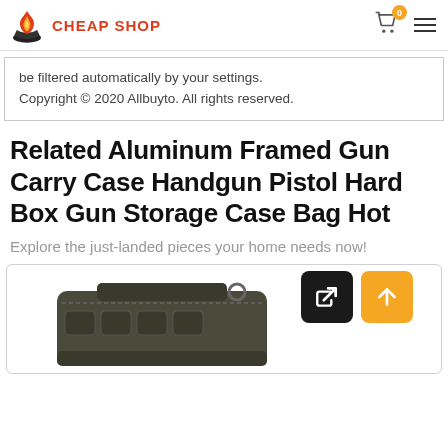CHEAP SHOP
be filtered automatically by your settings.
Copyright © 2020 Allbuyto. All rights reserved.
Related Aluminum Framed Gun Carry Case Handgun Pistol Hard Box Gun Storage Case Bag Hot
Explore the just-landed pieces your home needs now!
[Figure (photo): Dark olive/black tactical gun carry bag/case shown partially, with multiple pouches visible]